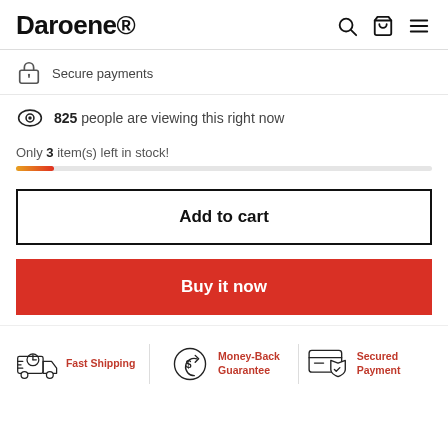Daroene®
Secure payments
825 people are viewing this right now
Only 3 item(s) left in stock!
Add to cart
Buy it now
Fast Shipping  Money-Back Guarantee  Secured Payment